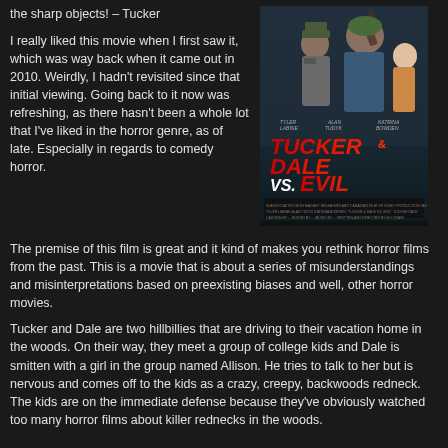the sharp objects! – Tucker
I really liked this movie when I first saw it, which was way back when it came out in 2010. Weirdly, I hadn't revisited since that initial viewing. Going back to it now was refreshing, as there hasn't been a whole lot that I've liked in the horror genre, as of late. Especially in regards to comedy horror.
[Figure (photo): Movie poster for Tucker & Dale vs. Evil showing two hillbilly characters and a woman with the title in large red letters]
The premise of this film is great and it kind of makes you rethink horror films from the past. This is a movie that is about a series of misunderstandings and misinterpretations based on preexisting biases and well, other horror movies.
Tucker and Dale are two hillbillies that are driving to their vacation home in the woods. On their way, they meet a group of college kids and Dale is smitten with a girl in the group named Allison. He tries to talk to her but is nervous and comes off to the kids as a crazy, creepy, backwoods redneck. The kids are on the immediate defense because they've obviously watched too many horror films about killer rednecks in the woods.